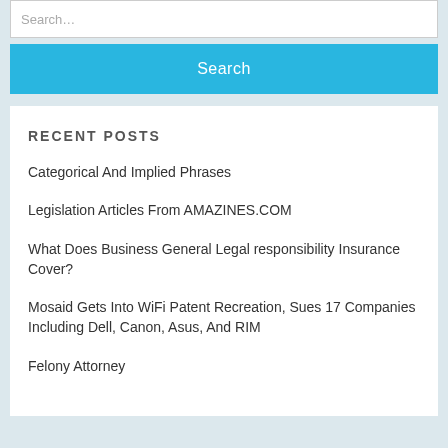Search...
Search
RECENT POSTS
Categorical And Implied Phrases
Legislation Articles From AMAZINES.COM
What Does Business General Legal responsibility Insurance Cover?
Mosaid Gets Into WiFi Patent Recreation, Sues 17 Companies Including Dell, Canon, Asus, And RIM
Felony Attorney